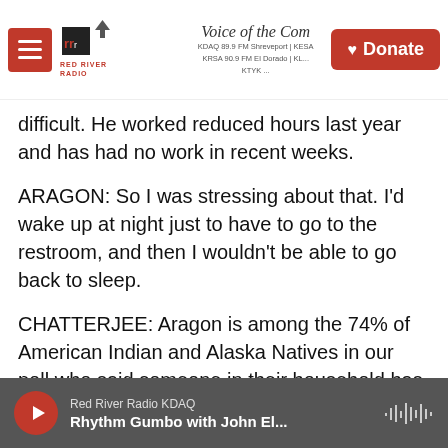Red River Radio — Voice of the Community | KDAQ 89.9 FM Shreveport | Donate
difficult. He worked reduced hours last year and has had no work in recent weeks.
ARAGON: So I was stressing about that. I'd wake up at night just to have to go to the restroom, and then I wouldn't be able to go back to sleep.
CHATTERJEE: Aragon is among the 74% of American Indian and Alaska Natives in our poll who said someone in their household has struggled with depression, anxiety, stress and problems with sleeping. That's compared to 52% of whites who said the same. Half of Native Americans also said they're facing serious financial problems, with a
Red River Radio KDAQ — Rhythm Gumbo with John El...